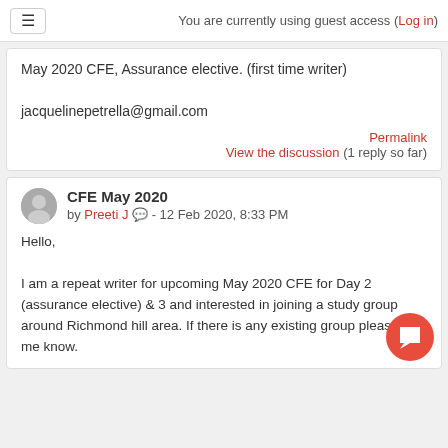You are currently using guest access (Log in)
May 2020 CFE, Assurance elective. (first time writer)

jacquelinepetrella@gmail.com
Permalink
View the discussion (1 reply so far)
CFE May 2020
by Preeti J - 12 Feb 2020, 8:33 PM
Hello,

I am a repeat writer for upcoming May 2020 CFE for Day 2 (assurance elective) & 3 and interested in joining a study group around Richmond hill area. If there is any existing group please let me know.